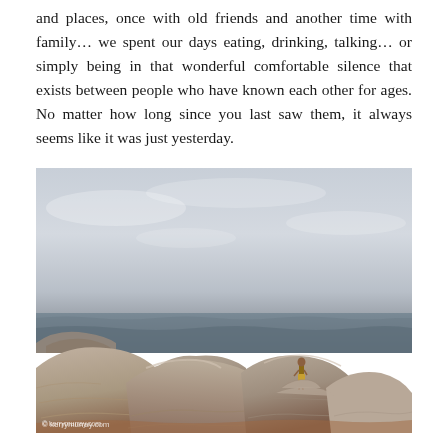and places, once with old friends and another time with family… we spent our days eating, drinking, talking… or simply being in that wonderful comfortable silence that exists between people who have known each other for ages. No matter how long since you last saw them, it always seems like it was just yesterday.
[Figure (photo): A person standing on large rocky coastal formations overlooking the ocean, with a pale sky in the background. Watermark: kerrymurray.com]